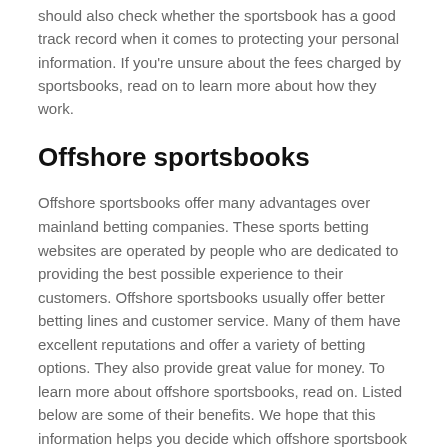should also check whether the sportsbook has a good track record when it comes to protecting your personal information. If you're unsure about the fees charged by sportsbooks, read on to learn more about how they work.
Offshore sportsbooks
Offshore sportsbooks offer many advantages over mainland betting companies. These sports betting websites are operated by people who are dedicated to providing the best possible experience to their customers. Offshore sportsbooks usually offer better betting lines and customer service. Many of them have excellent reputations and offer a variety of betting options. They also provide great value for money. To learn more about offshore sportsbooks, read on. Listed below are some of their benefits. We hope that this information helps you decide which offshore sportsbook is right for you.